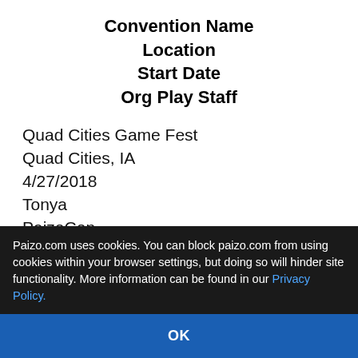Convention Name
Location
Start Date
Org Play Staff
Quad Cities Game Fest
Quad Cities, IA
4/27/2018
Tonya
PaizoCon
Sea-Tac, WA
5/25/2018
Tonya, John, Linda, Michael
UK Games Expo
Birmingham, England
Paizo.com uses cookies. You can block paizo.com from using cookies within your browser settings, but doing so will hinder site functionality. More information can be found in our Privacy Policy.
OK